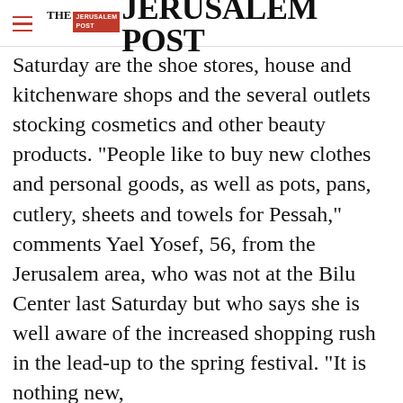THE JERUSALEM POST
Saturday are the shoe stores, house and kitchenware shops and the several outlets stocking cosmetics and other beauty products. "People like to buy new clothes and personal goods, as well as pots, pans, cutlery, sheets and towels for Pessah," comments Yael Yosef, 56, from the Jerusalem area, who was not at the Bilu Center last Saturday but who says she is well aware of the increased shopping rush in the lead-up to the spring festival. "It is nothing new,
Advertisement
[Figure (other): Walgreens advertisement: Ashburn OPEN 8AM-10PM, 20321 Susan Leslie Dr, Ashburn, with blue arrow navigation icon]